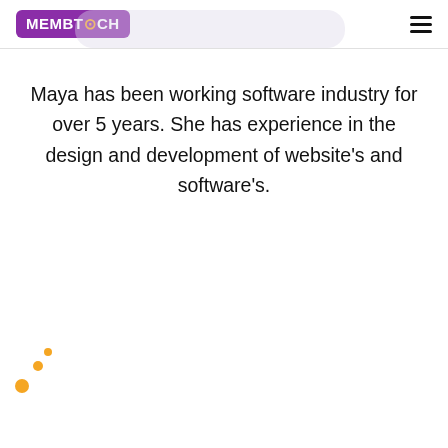MEMBTECH
Maya has been working software industry for over 5 years. She has experience in the design and development of website’s and software’s.